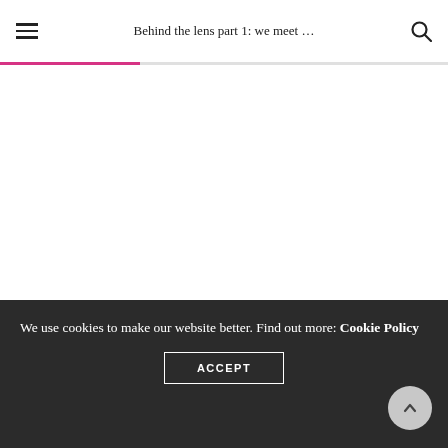Behind the lens part 1: we meet …
[Figure (other): Main content area, blank white space]
We use cookies to make our website better. Find out more: Cookie Policy
ACCEPT